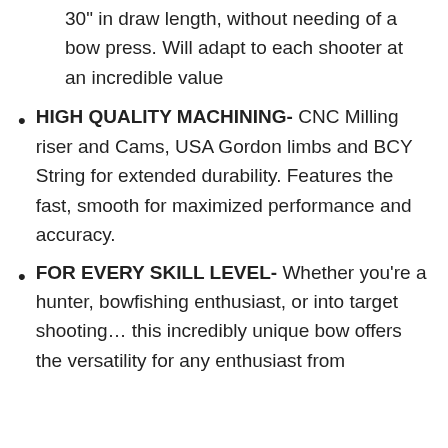30" in draw length, without needing of a bow press. Will adapt to each shooter at an incredible value
HIGH QUALITY MACHINING- CNC Milling riser and Cams, USA Gordon limbs and BCY String for extended durability. Features the fast, smooth for maximized performance and accuracy.
FOR EVERY SKILL LEVEL- Whether you're a hunter, bowfishing enthusiast, or into target shooting… this incredibly unique bow offers the versatility for any enthusiast from